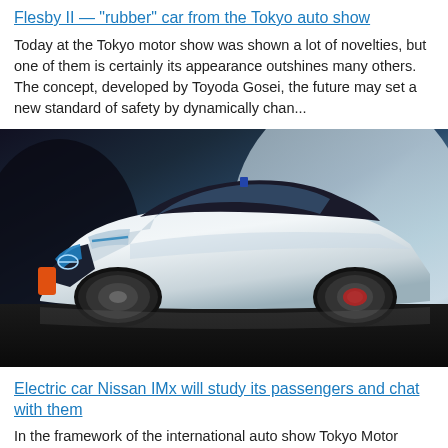Flesby II — "rubber" car from the Tokyo auto show
Today at the Tokyo motor show was shown a lot of novelties, but one of them is certainly its appearance outshines many others. The concept, developed by Toyoda Gosei, the future may set a new standard of safety by dynamically chan...
[Figure (photo): White Nissan IMx concept electric car on display at the Tokyo motor show, shown from a front-side angle on a reflective dark floor with a stylized background.]
Electric car Nissan IMx will study its passengers and chat with them
In the framework of the international auto show Tokyo Motor Show